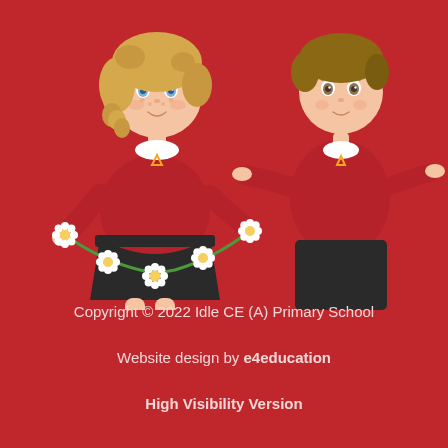[Figure (illustration): Two cartoon children in red school uniforms on a red background. The girl on the left has curly blonde hair and holds a daisy chain around her waist. The boy on the right has brown hair and stands with arms outstretched. Both wear red jumpers with a yellow triangle logo and dark trousers/skirt.]
Copyright © 2022 Idle CE (A) Primary School
Website design by e4education
High Visibility Version